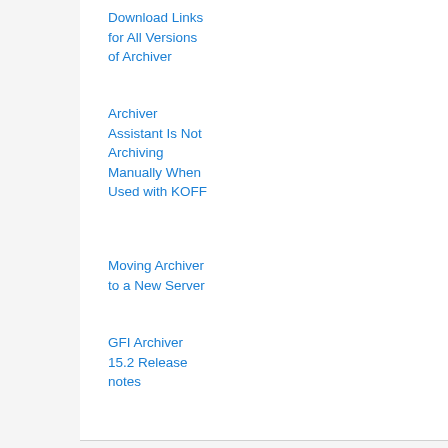Download Links for All Versions of Archiver
Archiver Assistant Is Not Archiving Manually When Used with KOFF
Moving Archiver to a New Server
GFI Archiver 15.2 Release notes